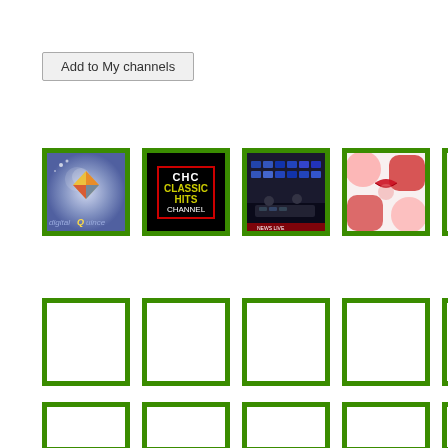Add to My channels
[Figure (screenshot): Grid of TV channel thumbnails with green borders. First row: Digital Quince channel logo (blue/purple gradient with colorful diamond), CHC Classic Hits Channel (black background with red border text), a TV studio/broadcast scene, a red lips/circles pattern. Below are two rows of empty green-bordered placeholder boxes, partially cropped on the right.]